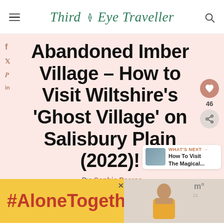Third Eye Traveller
Abandoned Imber Village – How to Visit Wiltshire's 'Ghost Village' on Salisbury Plain (2022)!
By: Sophie Pearce
Last updated: April 24, 2022
ENGLAND, WILTSHIRE
[Figure (screenshot): Bottom advertisement bar showing #AloneTogether hashtag in red on yellow background, with a photo of a woman on the right side and a close button]